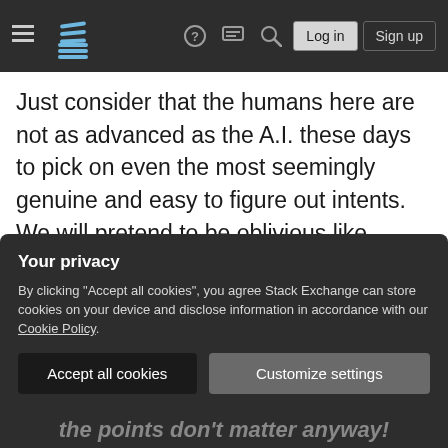Stack Exchange navigation bar with hamburger menu, logo, help icon, chat icon, search icon, Log in button, Sign up button
Just consider that the humans here are not as advanced as the A.I. these days to pick on even the most seemingly genuine and easy to figure out intents. We will pretend to be oblivious like swarms of side-character fish in Finding Dory. Be clear on your intent. Guessing games wither quickly for silicon-fused brains. The more effort we see you've put in, the more likelier someone is going to help and help well.
Senslessly funless indeed.
Your privacy
By clicking "Accept all cookies", you agree Stack Exchange can store cookies on your device and disclose information in accordance with our Cookie Policy.
Accept all cookies
Customize settings
the points don't matter anyway!